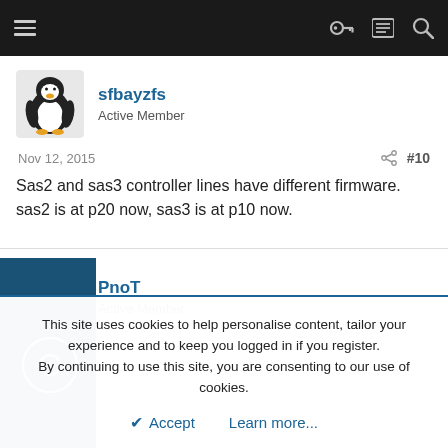Navigation bar with hamburger menu, key icon, list icon, search icon
sfbayzfs
Active Member
Nov 12, 2015   #10
Sas2 and sas3 controller lines have different firmware. sas2 is at p20 now, sas3 is at p10 now.
PnoT
Active Member
This site uses cookies to help personalise content, tailor your experience and to keep you logged in if you register.
By continuing to use this site, you are consenting to our use of cookies.
Accept   Learn more...